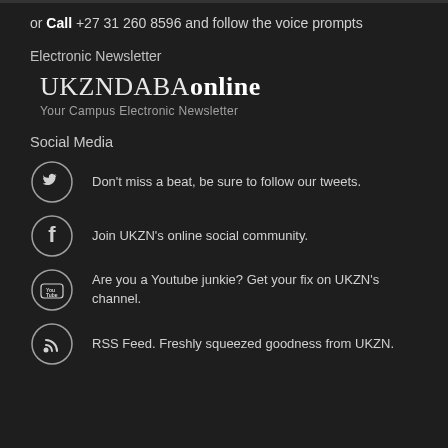or Call +27 31 260 8596 and follow the voice prompts
Electronic Newsletter
[Figure (logo): UKZNDABA online — Your Campus Electronic Newsletter logo]
Social Media
Don't miss a beat, be sure to follow our tweets.
Join UKZN's online social community.
Are you a Youtube junkie? Get your fix on UKZN's channel.
RSS Feed. Freshly squeezed goodness from UKZN.